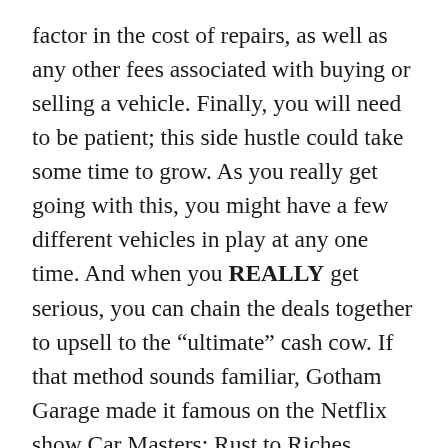factor in the cost of repairs, as well as any other fees associated with buying or selling a vehicle. Finally, you will need to be patient; this side hustle could take some time to grow. As you really get going with this, you might have a few different vehicles in play at any one time. And when you REALLY get serious, you can chain the deals together to upsell to the “ultimate” cash cow. If that method sounds familiar, Gotham Garage made it famous on the Netflix show Car Masters: Rust to Riches, where they bought low for their first car and ultimately cashed out their last transaction with six figures in profit!